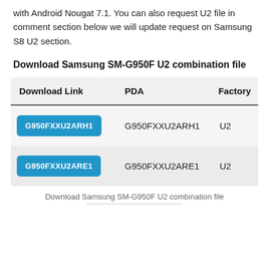with Android Nougat 7.1. You can also request U2 file in comment section below we will update request on Samsung S8 U2 section.
Download Samsung SM-G950F U2 combination file
| Download Link | PDA | Factory |
| --- | --- | --- |
| G950FXXU2ARH1 | G950FXXU2ARH1 | U2 |
| G950FXXU2ARE1 | G950FXXU2ARE1 | U2 |
Download Samsung SM-G950F U2 combination file